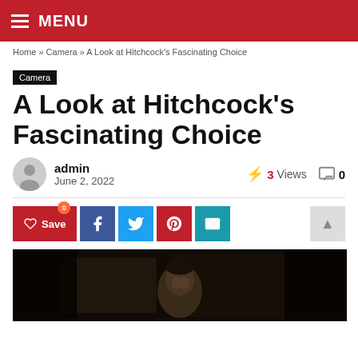MENU
Home » Camera » A Look at Hitchcock's Fascinating Choice
Camera
A Look at Hitchcock's Fascinating Choice
admin
June 2, 2022
3 Views
0
[Figure (photo): Dark cinematic still from a Hitchcock film showing a man's face in low lighting]